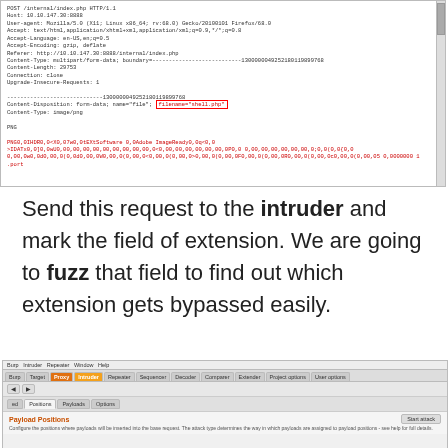[Figure (screenshot): HTTP request screenshot showing POST to /internal/index.php with headers including Host, User-agent, Accept, Content-Type multipart/form-data with boundary, Content-Length, Connection, Upgrade-Insecure-Requests. A highlighted red box around a filename field value. Below shows binary/encoded content in red text.]
Send this request to the intruder and mark the field of extension. We are going to fuzz that field to find out which extension gets bypassed easily.
[Figure (screenshot): Burp Suite Intruder tab screenshot showing menu bar with Burp, Intruder, Repeater, Window, Help. Tab row with Burp, Target, Proxy (highlighted orange), Intruder, Repeater, Sequencer, Decoder, Comparer, Extender, Project options, User options. A sub-toolbar with arrow buttons and sub-tabs showing Positions, Payloads, Options. Payload Positions section in orange with Start attack button and description text.]